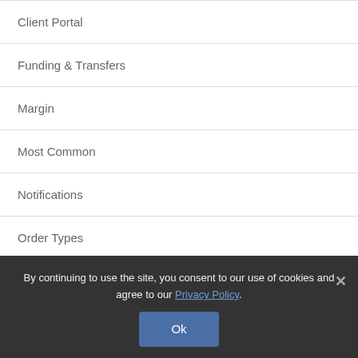Client Portal
Funding & Transfers
Margin
Most Common
Notifications
Order Types
Search for Articles
By continuing to use the site, you consent to our use of cookies and agree to our Privacy Policy.